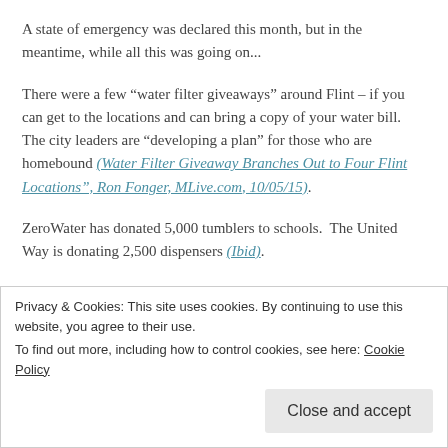A state of emergency was declared this month, but in the meantime, while all this was going on...
There were a few “water filter giveaways” around Flint – if you can get to the locations and can bring a copy of your water bill.  The city leaders are “developing a plan” for those who are homebound (Water Filter Giveaway Branches Out to Four Flint Locations”, Ron Fonger, MLive.com, 10/05/15).
ZeroWater has donated 5,000 tumblers to schools.  The United Way is donating 2,500 dispensers (Ibid).
There have been a cite of serious concerns for their well...
Privacy & Cookies: This site uses cookies. By continuing to use this website, you agree to their use.
To find out more, including how to control cookies, see here: Cookie Policy